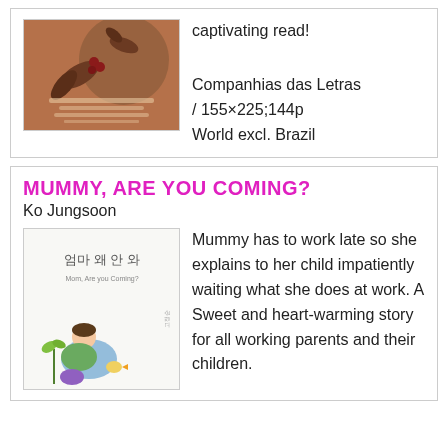[Figure (illustration): Book cover with brown/terracotta color, floral and leaf motifs, text in Portuguese]
captivating read!
Companhias das Letras / 155×225;144p
World excl. Brazil
MUMMY, ARE YOU COMING?
Ko Jungsoon
[Figure (illustration): Book cover with Korean text '엄마 왜 안 와' and 'Mom, Are you Coming?' subtitle, illustration of child with birds]
Mummy has to work late so she explains to her child impatiently waiting what she does at work. A Sweet and heart-warming story for all working parents and their children.